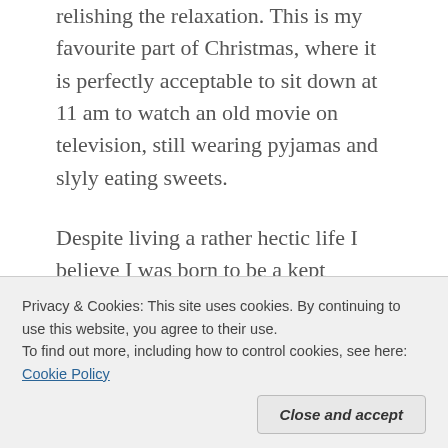relishing the relaxation. This is my favourite part of Christmas, where it is perfectly acceptable to sit down at 11 am to watch an old movie on television, still wearing pyjamas and slyly eating sweets.
Despite living a rather hectic life I believe I was born to be a kept woman. Others may insist they would be bored, but each Christmas, as I rarely bother to dress and enjoy eating two-day old dinner, I am more convinced than ever that this is the life for me. However, not every day can be quite so perfect.
Privacy & Cookies: This site uses cookies. By continuing to use this website, you agree to their use. To find out more, including how to control cookies, see here: Cookie Policy
sea of trolleys. Panic struck, by the speed of shoppers